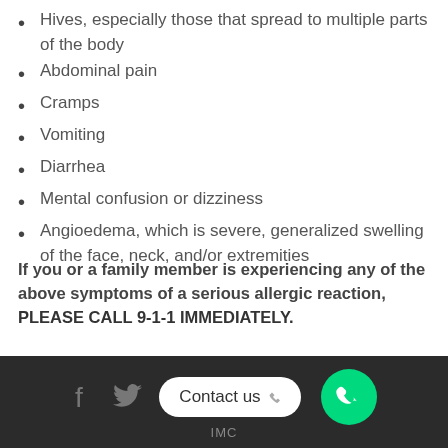Hives, especially those that spread to multiple parts of the body
Abdominal pain
Cramps
Vomiting
Diarrhea
Mental confusion or dizziness
Angioedema, which is severe, generalized swelling of the face, neck, and/or extremities
If you or a family member is experiencing any of the above symptoms of a serious allergic reaction, PLEASE CALL 9-1-1 IMMEDIATELY.
Contact us  IMC